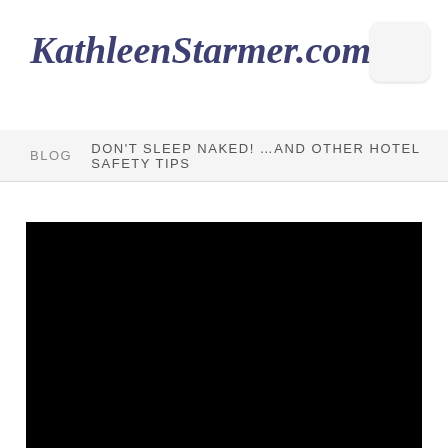KathleenStarmer.com
BLOG  DON'T SLEEP NAKED! …AND OTHER HOTEL SAFETY TIPS
[Figure (photo): Large black rectangular image area, likely a hotel or travel photo that is unloaded or very dark]